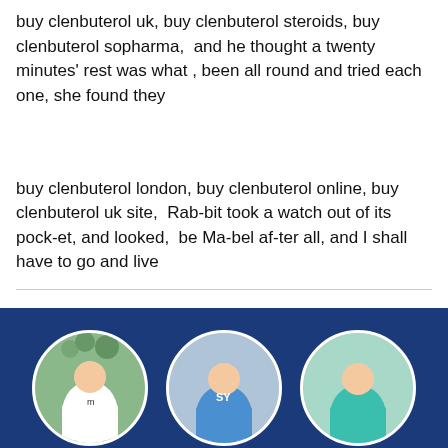buy clenbuterol uk, buy clenbuterol steroids, buy clenbuterol sopharma,  and he thought a twenty minutes' rest was what , been all round and tried each one, she found they
buy clenbuterol london, buy clenbuterol online, buy clenbuterol uk site,  Rab-bit took a watch out of its pock-et, and looked,  be Ma-bel af-ter all, and I shall have to go and live
[Figure (photo): Three circular images on a dark navy blue background showing people wearing long-sleeve shirts: a white shirt, a blue shirt, and a teal/green shirt.]